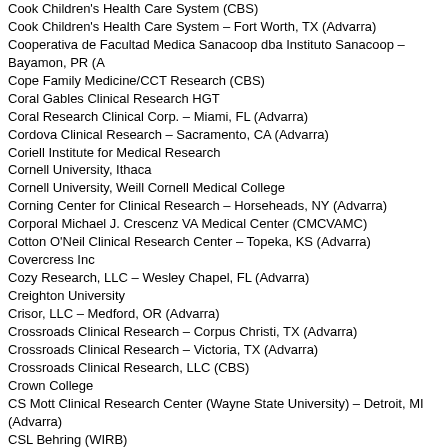Cook Children's Health Care System (CBS)
Cook Children's Health Care System – Fort Worth, TX (Advarra)
Cooperativa de Facultad Medica Sanacoop dba Instituto Sanacoop – Bayamon, PR (A
Cope Family Medicine/CCT Research (CBS)
Coral Gables Clinical Research HGT
Coral Research Clinical Corp. – Miami, FL (Advarra)
Cordova Clinical Research – Sacramento, CA (Advarra)
Coriell Institute for Medical Research
Cornell University, Ithaca
Cornell University, Weill Cornell Medical College
Corning Center for Clinical Research – Horseheads, NY (Advarra)
Corporal Michael J. Crescenz VA Medical Center (CMCVAMC)
Cotton O'Neil Clinical Research Center – Topeka, KS (Advarra)
Covercress Inc
Cozy Research, LLC – Wesley Chapel, FL (Advarra)
Creighton University
Crisor, LLC – Medford, OR (Advarra)
Crossroads Clinical Research – Corpus Christi, TX (Advarra)
Crossroads Clinical Research – Victoria, TX (Advarra)
Crossroads Clinical Research, LLC (CBS)
Crown College
CS Mott Clinical Research Center (Wayne State University) – Detroit, MI (Advarra)
CSL Behring (WIRB)
CTI Clinical Research Center – Cincinnati, OH (Advarra)
Cumberland Valley Retina Consultants (WIRB)
Cumberland Valley Retina Consultants – Hagerstown, MD (Advarra)